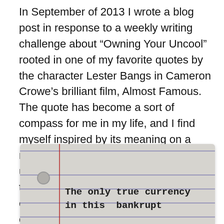In September of 2013 I wrote a blog post in response to a weekly writing challenge about “Owning Your Uncool” rooted in one of my favorite quotes by the character Lester Bangs in Cameron Crowe’s brilliant film, Almost Famous. The quote has become a sort of compass for me in my life, and I find myself inspired by its meaning on a regular basis. Like a ritual, “owning my uncool” is something that I do in order to remain humble, compassionate and engaged with others and myself as we experience our process of living and existing in a confusing ego-driven world.
[Figure (photo): A weathered index card or notecard with horizontal blue ruled lines and a red vertical margin line on the left. There is a circular hole punch near the left side. Typed in bold monospace font are the words: 'The only true currency in this bankrupt' with more text cut off at the bottom.]